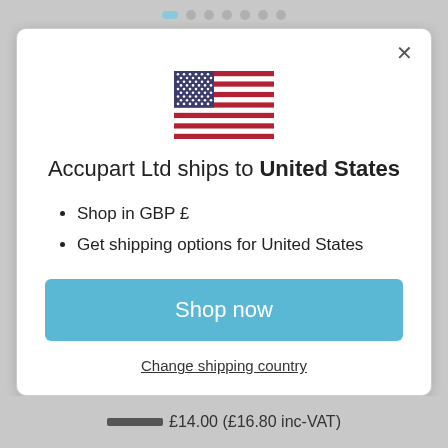[Figure (other): Pagination indicator dots — one active blue pill and six inactive grey circles]
[Figure (illustration): US flag (stars and stripes) SVG illustration centered in the modal]
Accupart Ltd ships to United States
Shop in GBP £
Get shipping options for United States
Shop now
Change shipping country
£14.00 (£16.80 inc-VAT)